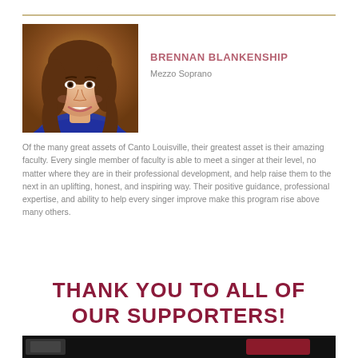[Figure (photo): Headshot portrait of Brennan Blankenship, a young woman with long brown hair, smiling, wearing a blue top, against a warm brown/gold background]
BRENNAN BLANKENSHIP
Mezzo Soprano
Of the many great assets of Canto Louisville, their greatest asset is their amazing faculty. Every single member of faculty is able to meet a singer at their level, no matter where they are in their professional development, and help raise them to the next in an uplifting, honest, and inspiring way. Their positive guidance, professional expertise, and ability to help every singer improve make this program rise above many others.
THANK YOU TO ALL OF OUR SUPPORTERS!
[Figure (photo): Partial bottom image, dark background with some figures visible]